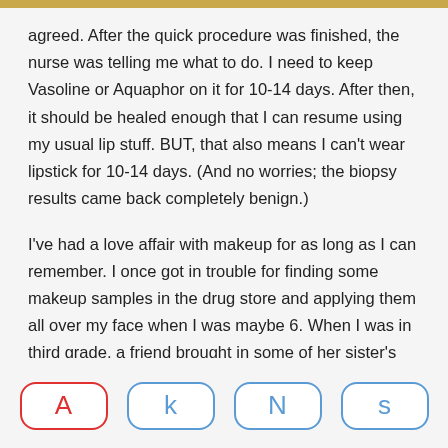agreed. After the quick procedure was finished, the nurse was telling me what to do. I need to keep Vasoline or Aquaphor on it for 10-14 days. After then, it should be healed enough that I can resume using my usual lip stuff. BUT, that also means I can't wear lipstick for 10-14 days. (And no worries; the biopsy results came back completely benign.)
I've had a love affair with makeup for as long as I can remember. I once got in trouble for finding some makeup samples in the drug store and applying them all over my face when I was maybe 6. When I was in third grade, a friend brought in some of her sister's makeup on picture day. Again, I found myself in trouble when my parents got my photos that included blue eye shadow smeared up to my eyebrows. (It was the 1980s; makeup was far from subtle back then!) So